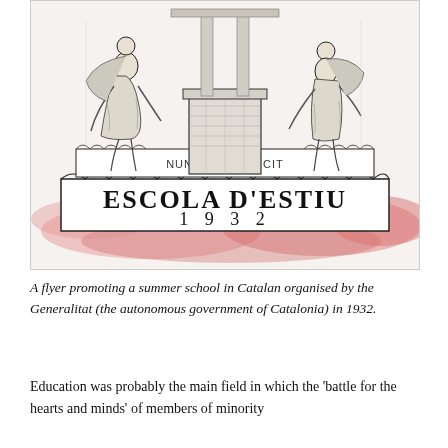[Figure (illustration): A historical flyer/book cover titled 'ESCOLA D'ESTIU 1932' with the motto 'NUNQUAM DEFICIT' on a decorative banner. Two classical figures flank a central pedestal. The lower portion has a pink/red watercolor wash background.]
A flyer promoting a summer school in Catalan organised by the Generalitat (the autonomous government of Catalonia) in 1932.
Education was probably the main field in which the 'battle for the hearts and minds' of members of minority